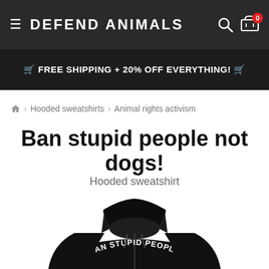DEFEND ANIMALS
🏷 FREE SHIPPING + 20% OFF EVERYTHING! 🏷
🏠 › Hooded sweatshirts › Animal rights activism
Ban stupid people not dogs!
Hooded sweatshirt
[Figure (photo): Black hooded sweatshirt with text 'BAN STUPID PEOPLE NOT DOGS' printed on it, shown from above/front collar view]